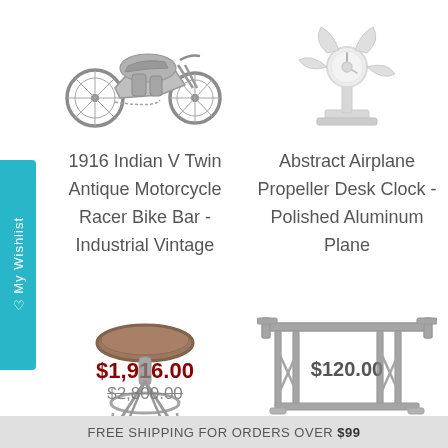[Figure (illustration): Antique motorcycle racer top view, dark gray, partial crop at top of page]
[Figure (illustration): Abstract airplane propeller desk clock, polished aluminum, partial crop at top of page]
1916 Indian V Twin Antique Motorcycle Racer Bike Bar - Industrial Vintage
Abstract Airplane Propeller Desk Clock - Polished Aluminum Plane
$1,916.00
$2,800.00
$120.00
[Figure (illustration): Industrial vintage bar stool with round brown leather seat and metal base, partial crop at bottom]
[Figure (illustration): Metal industrial table or bench frame, dark gray, partial crop at bottom]
FREE SHIPPING FOR ORDERS OVER $99